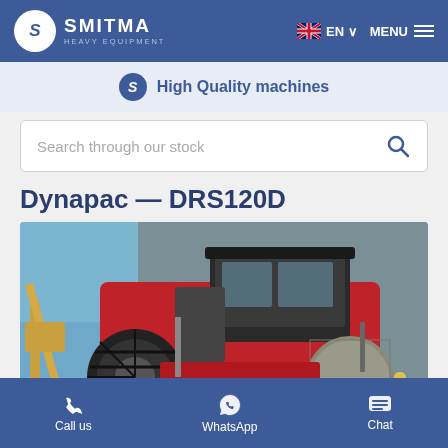SMITMA HEAVY EQUIPMENT — EN MENU
High Quality machines
Search through our stock
Dynapac — DRS120D
[Figure (photo): Dynapac DRS120D single-drum soil compactor roller, red colored, photographed outdoors near a warehouse building. Large pneumatic tire visible on left, smooth compaction drum on right. Construction equipment visible in background.]
Call us  WhatsApp  Chat